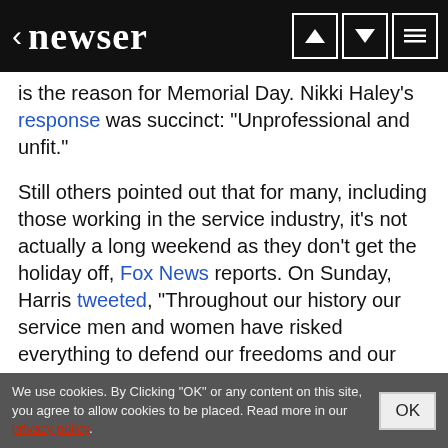< newser
is the reason for Memorial Day. Nikki Haley's response was succinct: "Unprofessional and unfit."

Still others pointed out that for many, including those working in the service industry, it's not actually a long weekend as they don't get the holiday off, Fox News reports. On Sunday, Harris tweeted, "Throughout our history our service men and women have risked everything to defend our freedoms and our country. As we prepare to honor them on Memorial Day, we remember their service and their sacrifice." The controversy comes on the heels of Harris being criticized by some for a "woke joke" about solar power that fell flat when she gave a speech to the graduating Naval Academy class Friday, per the New York Post. (Read more Kamala Harris stories.)
We use cookies. By Clicking "OK" or any content on this site, you agree to allow cookies to be placed. Read more in our privacy policy.